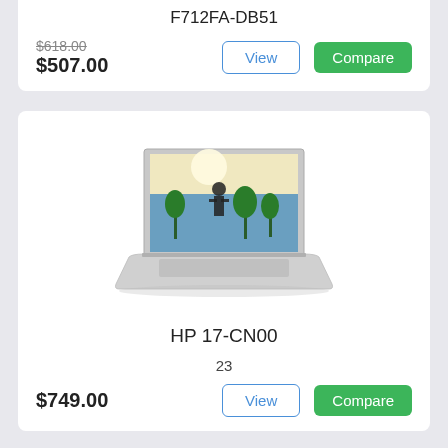F712FA-DB51
$618.00 $507.00
[Figure (screenshot): HP laptop product listing card with product name, price, View and Compare buttons]
HP 17-CN00
23
$749.00